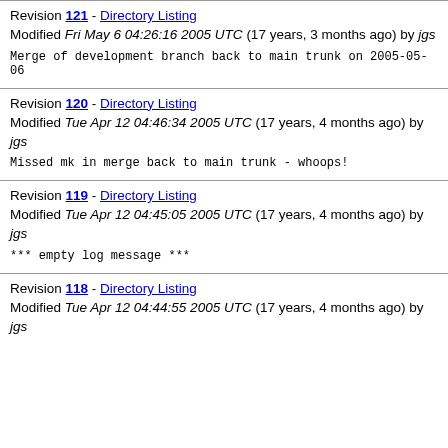Revision 121 - Directory Listing
Modified Fri May 6 04:26:16 2005 UTC (17 years, 3 months ago) by jgs
Merge of development branch back to main trunk on 2005-05-06
Revision 120 - Directory Listing
Modified Tue Apr 12 04:46:34 2005 UTC (17 years, 4 months ago) by jgs
Missed mk in merge back to main trunk - whoops!
Revision 119 - Directory Listing
Modified Tue Apr 12 04:45:05 2005 UTC (17 years, 4 months ago) by jgs
*** empty log message ***
Revision 118 - Directory Listing
Modified Tue Apr 12 04:44:55 2005 UTC (17 years, 4 months ago) by jgs